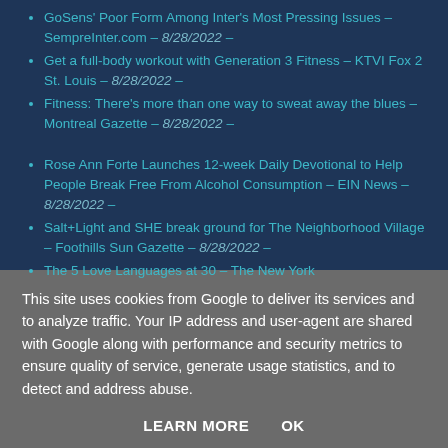GoSens&#39; Poor Form Among Inter&#39;s Most Pressing Issues – SempreInter.com – 8/28/2022 –
Get a full-body workout with Generation 3 Fitness – KTVI Fox 2 St. Louis – 8/28/2022 –
Fitness: There's more than one way to sweat away the blues – Montreal Gazette – 8/28/2022 –
Rose Ann Forte Launches 12-week Daily Devotional to Help People Break Free From Alcohol Consumption – EIN News – 8/28/2022 –
Salt+Light and SHE break ground for The Neighborhood Village – Foothills Sun Gazette – 8/28/2022 –
The 5 Love Languages at 30 – The New York
This site uses cookies from Google to deliver its services and to analyze traffic. Your IP address and user-agent are shared with Google along with performance and security metrics to ensure quality of service, generate usage statistics, and to detect and address abuse.
LEARN MORE    OK